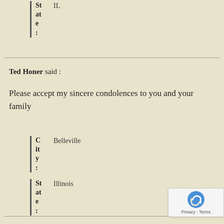State: IL
Ted Honer said :
Please accept my sincere condolences to you and your family
City: Belleville
State: Illinois